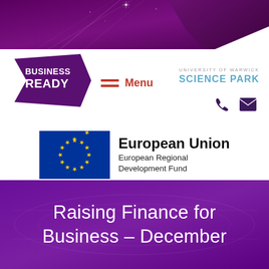[Figure (logo): Top purple decorative banner with abstract light rays]
[Figure (logo): Business Ready logo - purple geometric arrow shape with white text]
Menu
[Figure (logo): University of Warwick Science Park logo]
[Figure (logo): Phone and email contact icons]
[Figure (logo): European Union European Regional Development Fund logo with EU flag]
Raising Finance for Business – December